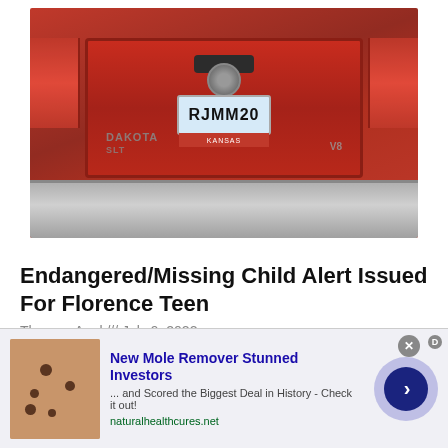[Figure (photo): Rear view of a red Dodge Dakota SXT pickup truck showing the tailgate with RAM logo and license plate reading RJMM20]
Endangered/Missing Child Alert Issued For Florence Teen
Therese Apel /// July 9, 2022
Mississippi Bureau of Investigation has issued an
[Figure (photo): Advertisement showing skin with moles next to text: New Mole Remover Stunned Investors ... and Scored the Biggest Deal in History - Check it out! naturalhealthcures.net]